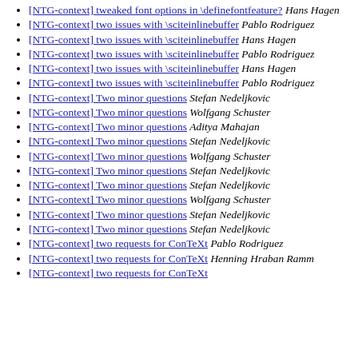[NTG-context] tweaked font options in \definefontfeature?  Hans Hagen
[NTG-context] two issues with \sciteinlinebuffer  Pablo Rodriguez
[NTG-context] two issues with \sciteinlinebuffer  Hans Hagen
[NTG-context] two issues with \sciteinlinebuffer  Pablo Rodriguez
[NTG-context] two issues with \sciteinlinebuffer  Hans Hagen
[NTG-context] two issues with \sciteinlinebuffer  Pablo Rodriguez
[NTG-context] Two minor questions  Stefan Nedeljkovic
[NTG-context] Two minor questions  Wolfgang Schuster
[NTG-context] Two minor questions  Aditya Mahajan
[NTG-context] Two minor questions  Stefan Nedeljkovic
[NTG-context] Two minor questions  Wolfgang Schuster
[NTG-context] Two minor questions  Stefan Nedeljkovic
[NTG-context] Two minor questions  Stefan Nedeljkovic
[NTG-context] Two minor questions  Wolfgang Schuster
[NTG-context] Two minor questions  Stefan Nedeljkovic
[NTG-context] Two minor questions  Stefan Nedeljkovic
[NTG-context] two requests for ConTeXt  Pablo Rodriguez
[NTG-context] two requests for ConTeXt  Henning Hraban Ramm
[NTG-context] two requests for ConTeXt  Thomas... (truncated)